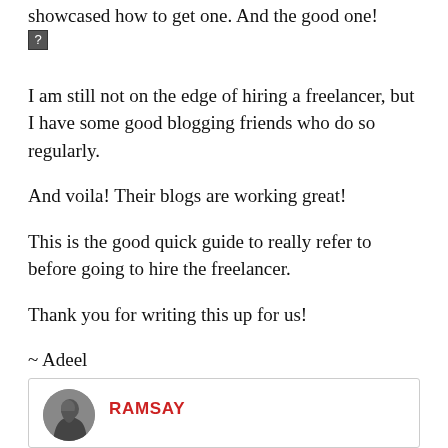showcased how to get one. And the good one! [image]
I am still not on the edge of hiring a freelancer, but I have some good blogging friends who do so regularly.
And voila! Their blogs are working great!
This is the good quick guide to really refer to before going to hire the freelancer.
Thank you for writing this up for us!
~ Adeel
[Figure (photo): Avatar photo of commenter Ramsay, a circular profile image showing a person in side profile, grayscale/sepia toned]
RAMSAY